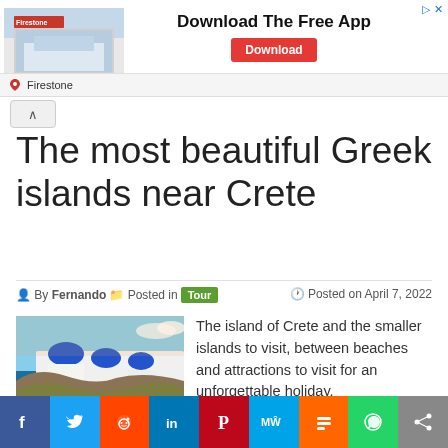[Figure (screenshot): Firestone advertisement banner with building photo, 'Download The Free App' text and red Download button]
The most beautiful Greek islands near Crete
By Fernando   Posted in Tour   Posted on April 7, 2022
[Figure (photo): Greek island scene with white buildings with blue domes overlooking the sea, Santorini-style]
The island of Crete and the smaller islands to visit, between beaches and attractions to visit for an unforgettable holiday.
[Figure (infographic): Social sharing bar with Facebook, Twitter, Reddit, LinkedIn, Pinterest, MeWe, Mix, WhatsApp, and Share buttons]